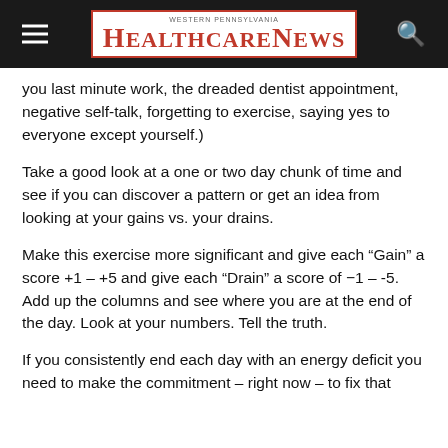Western Pennsylvania HealthCare News
you last minute work, the dreaded dentist appointment, negative self-talk, forgetting to exercise, saying yes to everyone except yourself.)
Take a good look at a one or two day chunk of time and see if you can discover a pattern or get an idea from looking at your gains vs. your drains.
Make this exercise more significant and give each “Gain” a score +1 – +5 and give each “Drain” a score of −1 – -5. Add up the columns and see where you are at the end of the day. Look at your numbers. Tell the truth.
If you consistently end each day with an energy deficit you need to make the commitment – right now – to fix that